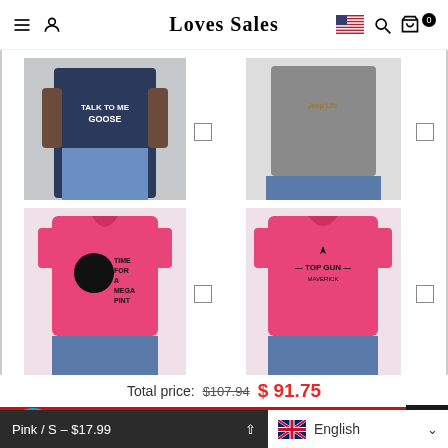Loves Sales
[Figure (photo): Navy t-shirt with 'Talk To Me Goose' graphic worn by tattooed person]
[Figure (photo): Gray graphic t-shirt with text, worn with denim shorts]
[Figure (photo): Hot pink v-neck t-shirt with 'Time For A Mega Pint' graphic]
[Figure (photo): Hot pink v-neck t-shirt with 'Top Gun Maverick' graphic]
Total price: $107.94  $91.75
ADD SELECTED TO CART
Pink / S – $17.99
English